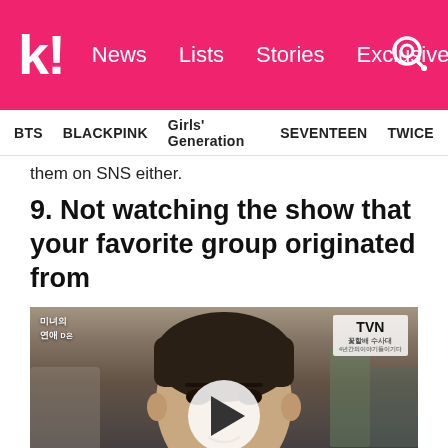k! News Lists Stories Exclusives
BTS   BLACKPINK   Girls' Generation   SEVENTEEN   TWICE
them on SNS either.
9. Not watching the show that your favorite group originated from
[Figure (screenshot): Video thumbnail of a Korean drama showing a young man, with TVN logo in top right and Korean text overlay in top left, with a play button in the center.]